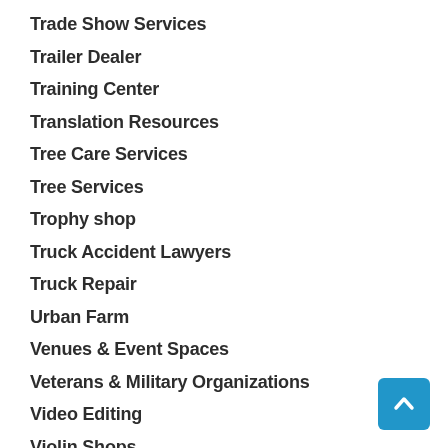Trade Show Services
Trailer Dealer
Training Center
Translation Resources
Tree Care Services
Tree Services
Trophy shop
Truck Accident Lawyers
Truck Repair
Urban Farm
Venues & Event Spaces
Veterans & Military Organizations
Video Editing
Violin Shops
Virtual Office Services Jersey City
waste management
Waste Management Service San Antonio TX